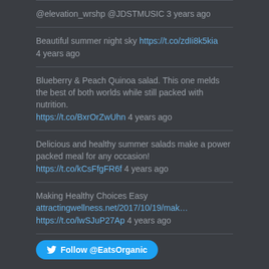@elevation_wrshp @JDSTMUSIC 3 years ago
Beautiful summer night sky https://t.co/zdIi8k5kia 4 years ago
Blueberry & Peach Quinoa salad. This one melds the best of both worlds while still packed with nutrition. https://t.co/BxrOrZwUhn 4 years ago
Delicious and healthy summer salads make a power packed meal for any occasion! https://t.co/kCsFfgFR6f 4 years ago
Making Healthy Choices Easy attractingwellness.net/2017/10/19/mak… https://t.co/lwSJuP27Ap 4 years ago
Follow @EatsOrganic